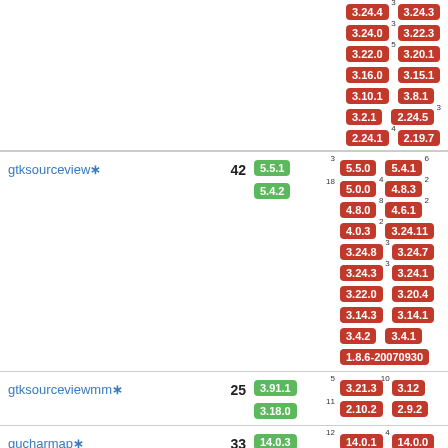| Package | Count | Latest | Other Versions |
| --- | --- | --- | --- |
| gtksourceview* | 42 | 5.5.1³ 5.4.2¹⁸ | 5.5.0 5.4.1⁶ 5.0.0⁴ 4.8.3² 4.8.0⁸ 4.6.1² 4.0.3² 3.24.11 3.24.8³ 3.24.7 3.24.3³ 3.24.1 3.22.0 3.20.4 3.14.3 3.14.1 3.4.2 3.4.1 1.8.6-20070930 |
| gtksourceviewmm* | 25 | 3.91.1⁵ 3.18.0¹¹ | 3.21.3¹⁰ 3.12 2.10.2 2.9.2 |
| gucharmap* | 33 | 14.0.3¹² | 14.0.1⁴ 14.0.0 13.0.6³ 13.0.0 |